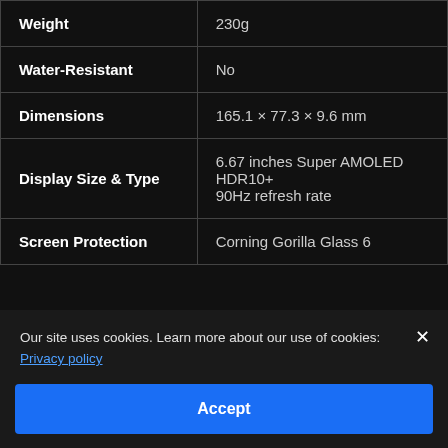| Specification | Value |
| --- | --- |
| Weight | 230g |
| Water-Resistant | No |
| Dimensions | 165.1 × 77.3 × 9.6 mm |
| Display Size & Type | 6.67 inches Super AMOLED
HDR10+
90Hz refresh rate |
| Screen Protection | Corning Gorilla Glass 6 |
Our site uses cookies. Learn more about our use of cookies: Privacy policy
Accept